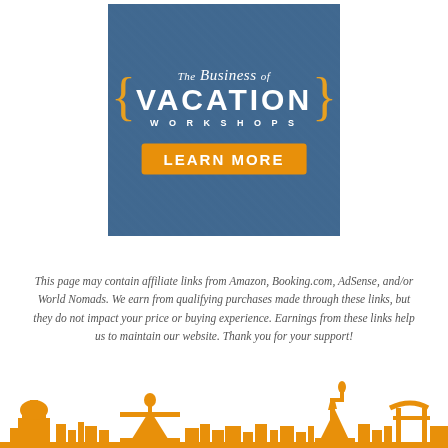[Figure (infographic): Advertisement banner for 'The Business of Vacation Workshops' with a blue-toned crowd background, decorative golden curly braces, white text, and an orange 'LEARN MORE' button]
This page may contain affiliate links from Amazon, Booking.com, AdSense, and/or World Nomads. We earn from qualifying purchases made through these links, but they do not impact your price or buying experience. Earnings from these links help us to maintain our website. Thank you for your support!
[Figure (illustration): Orange silhouette skyline of world landmarks including a dome building, Christ the Redeemer statue, Statue of Liberty, and Japanese torii gate]